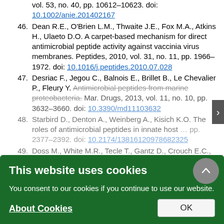vol. 53, no. 40, pp. 10612–10623. doi: 10.1002/anie.201402167
46. Dean R.E., O'Brien L.M., Thwaite J.E., Fox M.A., Atkins H., Ulaeto D.O. A carpet-based mechanism for direct antimicrobial peptide activity against vaccinia virus membranes. Peptides, 2010, vol. 31, no. 11, pp. 1966–1972. doi: 10.1016/j.peptides.2010.07.028
47. Desriac F., Jegou C., Balnois E., Brillet B., Le Chevalier P., Fleury Y. Antimicrobial peptides from marine proteobacteria. Mar. Drugs, 2013, vol. 11, no. 10, pp. 3632–3660. doi: 10.3390/md11103632
48. Starbird D., Denton A., Weinberg A., Kisich K.O. The roles of antimicrobial peptides in innate host ... pp. 2377–2392. doi: 10.2174/13816120978682325
49. Doss M., White M.R., Tecle T., Gantz D., Crouch E.C., Joo G., Ruchala P., Waring A.J., Lehrer R.I., ... Interactions of alpha-, beta-, and theta-defensins with influenza A virus and surfactant protein D. J. Immunol. 2009, vol. 182, pp. 7878–7887. doi: 10.4049/jimmunol.0804049
50. Droin N., Hendra J.B., Ducoroy P., Solary E. Human defensins as cancer biomarkers and antitumor molecules. J. Proteomics, 2009, vol. 72, no. 6, pp. 918–927. doi: 10.1016/j.jprot.2009.01.002
51. Ezadi F., Ardebili A., Mirnejad R. Antimicrobial susceptibility testing for polymyxins: challenges, issues, and recommendations. J. Clin. Microbiol.